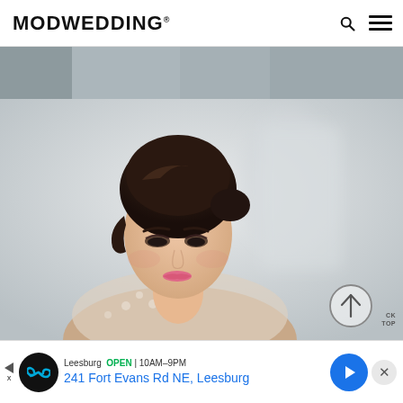MODWEDDING®
[Figure (photo): Cropped top edge of a horizontal photo strip showing blurred wedding-related imagery in muted blue-grey tones]
[Figure (photo): Portrait of a young woman with dark brunette hair styled in a chignon, dramatic smoky eye makeup, and pink lips, wearing a lace cap-sleeve top, looking downward in a softly lit studio setting. A circular back-to-top arrow button overlays the lower right corner.]
[Figure (infographic): Advertisement banner: Leesburg store — OPEN 10AM–9PM — 241 Fort Evans Rd NE, Leesburg, with navigation arrow icon and close button]